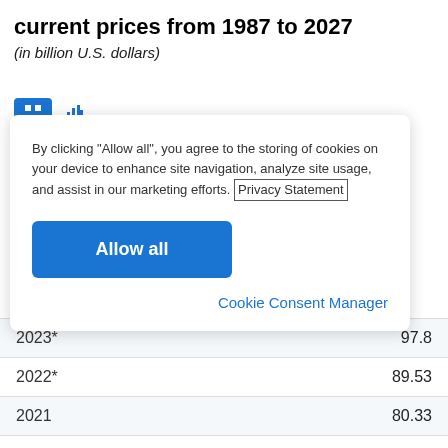current prices from 1987 to 2027
(in billion U.S. dollars)
[Figure (screenshot): Cookie consent modal overlay with 'Allow all' button and Privacy Statement link and Cookie Consent Manager link]
| Year | Value |
| --- | --- |
| 2023* | 97.8 |
| 2022* | 89.53 |
| 2021 | 80.33 |
| 2020 | 70 |